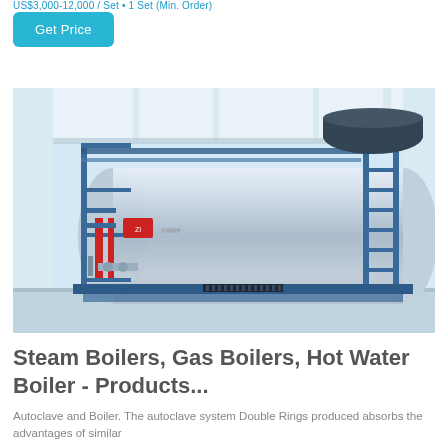US$3,000-12,000/Set • 1 Set (Min. Order)
Get Price
[Figure (photo): Industrial gas-fired steam boiler with blue steel frame, ladders, piping, and insulated cylindrical vessel inside a white industrial building. Chinese manufacturer logo visible on the unit.]
Steam Boilers, Gas Boilers, Hot Water Boiler - Products...
Autoclave and Boiler. The autoclave system Double Rings produced absorbs the advantages of similar